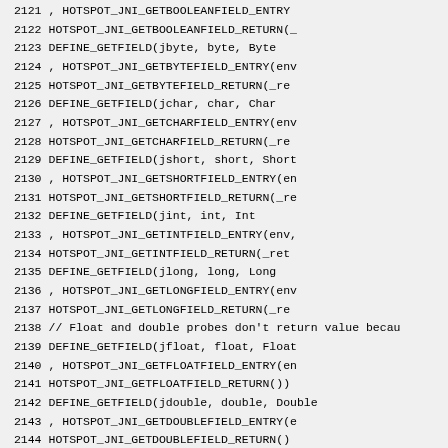Source code listing lines 2121-2150, showing DEFINE_GETFIELD macros and jni_GetBooleanField_addr, jni_GetByteField_addr function definitions in C/C++ JNI hotspot code.